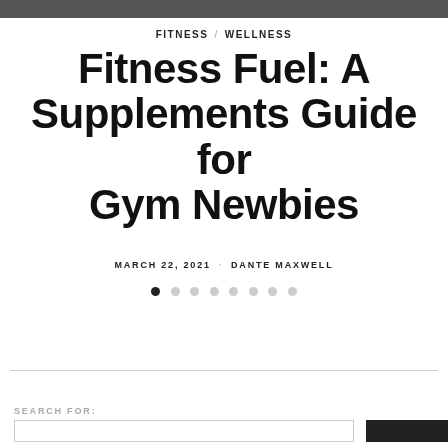[Figure (photo): Partial photo strip at top of page, cropped]
FITNESS / WELLNESS
Fitness Fuel: A Supplements Guide for Gym Newbies
MARCH 22, 2021 · DANTE MAXWELL
[Figure (other): Pagination dots: 8 dots, first one filled/active]
SEARCH FOR: